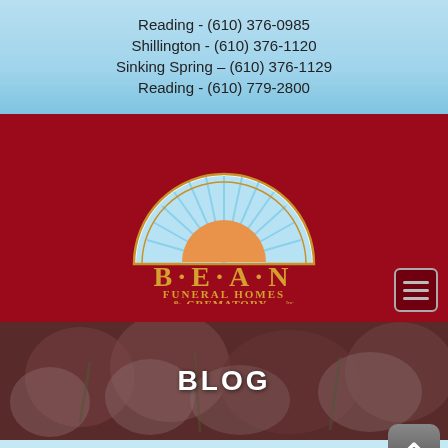Reading - (610) 376-0985
Shillington - (610) 376-1120
Sinking Spring - (610) 376-1129
Reading - (610) 779-2800
[Figure (logo): Bean Funeral Homes & Crematory logo with sunrise/sun rays design above the text]
BLOG
[Figure (photo): Background image of roses/flowers in muted red-brown tones behind the BLOG title]